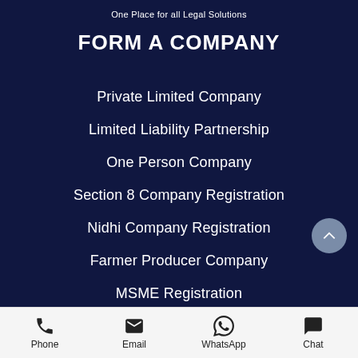One Place for all Legal Solutions
FORM A COMPANY
Private Limited Company
Limited Liability Partnership
One Person Company
Section 8 Company Registration
Nidhi Company Registration
Farmer Producer Company
MSME Registration
Company Registration in Bangalore
Phone | Email | WhatsApp | Chat